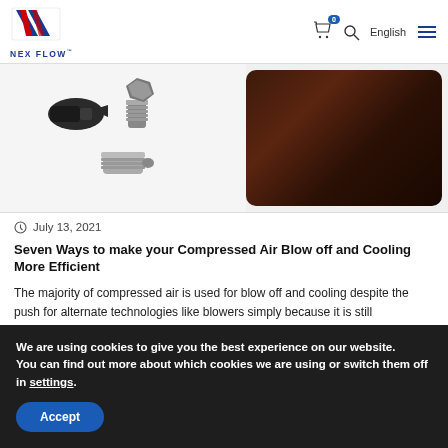[Figure (logo): Nex Flow logo with blue and red diagonal stripes and 'NEX FLOW' text below]
[Figure (photo): Two product images: left shows compressed air nozzle/blow-off products on white background; right shows dark image with steam/smoke effects]
July 13, 2021
Seven Ways to make your Compressed Air Blow off and Cooling More Efficient
The majority of compressed air is used for blow off and cooling despite the push for alternate technologies like blowers simply because it is still
We are using cookies to give you the best experience on our website.
You can find out more about which cookies we are using or switch them off in settings.
Accept